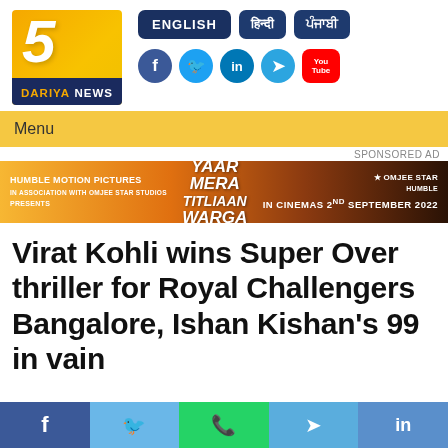[Figure (logo): 5 Dariya News logo — orange/yellow background with large italic '5', dark blue bottom strip with 'DARIYA NEWS' text]
[Figure (infographic): Navigation buttons: ENGLISH, Hindi script, Punjabi script; Social media icons: Facebook, Twitter, LinkedIn, Telegram, YouTube]
Menu
SPONSORED AD
[Figure (photo): Advertisement banner: Humble Motion Pictures in association with Omjee Star Studios presents 'Yaar Mera Titliaan Warga' — IN CINEMAS 2ND SEPTEMBER 2022]
Virat Kohli wins Super Over thriller for Royal Challengers Bangalore, Ishan Kishan's 99 in vain
[Figure (infographic): Bottom social share bar with Facebook, Twitter, WhatsApp, Telegram, LinkedIn icons]